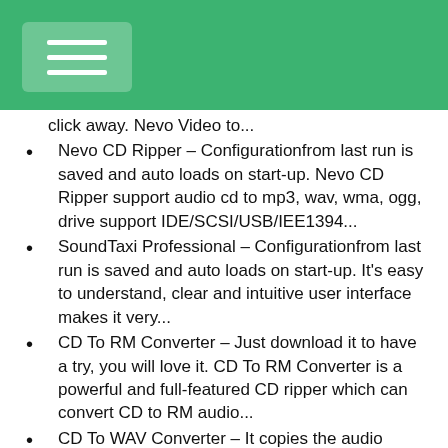click away. Nevo Video to…
Nevo CD Ripper – Configurationfrom last run is saved and auto loads on start-up. Nevo CD Ripper support audio cd to mp3, wav, wma, ogg, drive support IDE/SCSI/USB/IEE1394...
SoundTaxi Professional – Configurationfrom last run is saved and auto loads on start-up. It's easy to understand, clear and intuitive user interface makes it very...
CD To RM Converter – Just download it to have a try, you will love it. CD To RM Converter is a powerful and full-featured CD ripper which can convert CD to RM audio...
CD To WAV Converter – It copies the audio directly from your CD, which enables you to make perfect copies of the originals. CD To